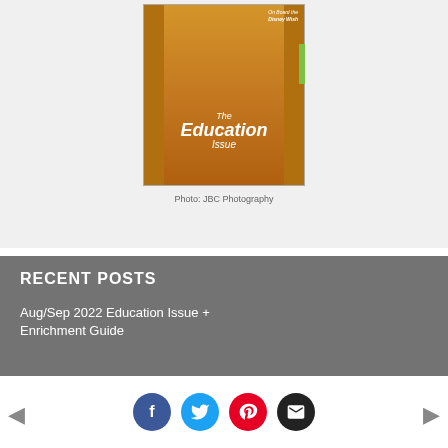[Figure (photo): Magazine cover showing a child in a yellow skirt standing in a school bus doorway, with text 'On Board the Disney Wish' at top right and 'The Education Issue' overlaid in the lower portion]
Photo: JBC Photography
RECENT POSTS
Aug/Sep 2022 Education Issue + Enrichment Guide